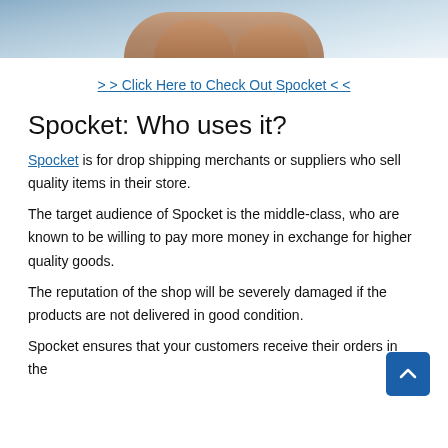[Figure (photo): Partial photo showing hands, likely typing on a laptop, cropped at the top of the page]
>> Click Here to Check Out Spocket <<
Spocket: Who uses it?
Spocket is for drop shipping merchants or suppliers who sell quality items in their store.
The target audience of Spocket is the middle-class, who are known to be willing to pay more money in exchange for higher quality goods.
The reputation of the shop will be severely damaged if the products are not delivered in good condition.
Spocket ensures that your customers receive their orders in the